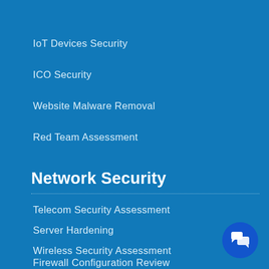IoT Devices Security
ICO Security
Website Malware Removal
Red Team Assessment
Network Security
Telecom Security Assessment
Server Hardening
Wireless Security Assessment
Firewall Configuration Review